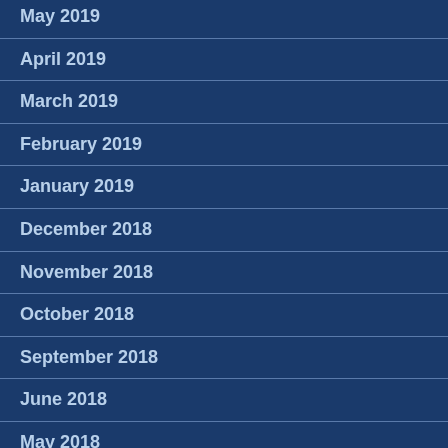May 2019
April 2019
March 2019
February 2019
January 2019
December 2018
November 2018
October 2018
September 2018
June 2018
May 2018